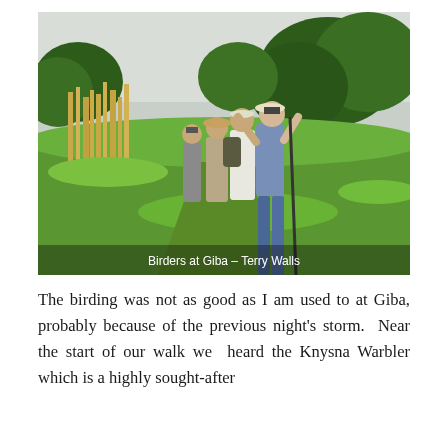[Figure (photo): Group of birdwatchers at Giba, looking upward through binoculars along a grassy path with tall reeds and lush green trees in the background. Caption reads: Birders at Giba – Terry Walls]
Birders at Giba – Terry Walls
The birding was not as good as I am used to at Giba, probably because of the previous night's storm. Near the start of our walk we heard the Knysna Warbler which is a highly sought-after